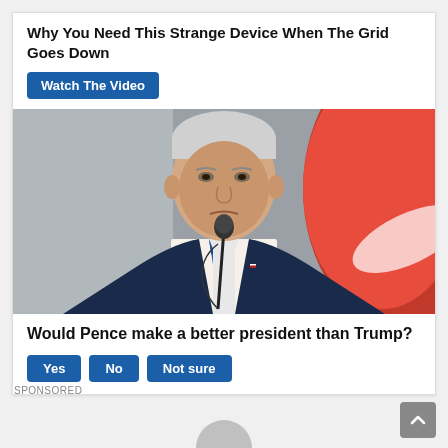Why You Need This Strange Device When The Grid Goes Down
Watch The Video
[Figure (photo): A white-haired man in a dark navy suit and striped blue tie speaking at a microphone outdoors, with a red and white background behind him]
Would Pence make a better president than Trump?
Yes  No  Not sure
SPONSORED